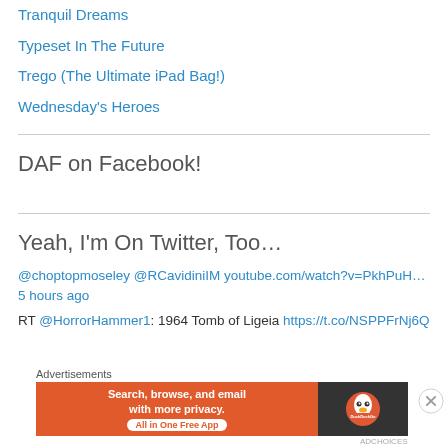Tranquil Dreams
Typeset In The Future
Trego (The Ultimate iPad Bag!)
Wednesday's Heroes
DAF on Facebook!
Yeah, I'm On Twitter, Too…
@choptopmoseley @RCavidiniIM youtube.com/watch?v=PkhPuH… 5 hours ago
RT @HorrorHammer1: 1964 Tomb of Ligeia https://t.co/NSPPFrNj6Q
Advertisements
[Figure (screenshot): DuckDuckGo advertisement banner: orange left panel with text 'Search, browse, and email with more privacy. All in One Free App', dark right panel with DuckDuckGo duck logo.]